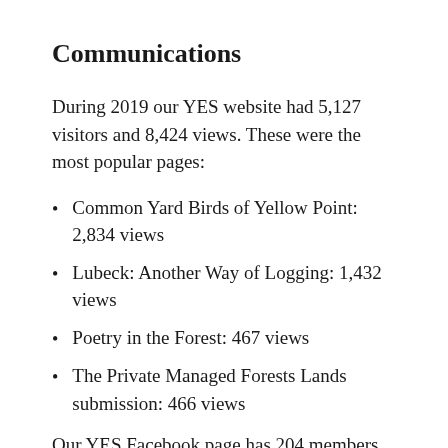Communications
During 2019 our YES website had 5,127 visitors and 8,424 views. These were the most popular pages:
Common Yard Birds of Yellow Point: 2,834 views
Lubeck: Another Way of Logging: 1,432 views
Poetry in the Forest: 467 views
The Private Managed Forests Lands submission: 466 views
Our YES Facebook page has 204 members, and